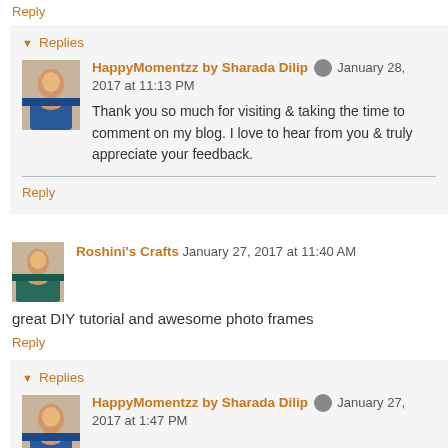Reply
Replies
HappyMomentzz by Sharada Dilip  January 28, 2017 at 11:13 PM
Thank you so much for visiting & taking the time to comment on my blog. I love to hear from you & truly appreciate your feedback.
Reply
Roshini's Crafts  January 27, 2017 at 11:40 AM
great DIY tutorial and awesome photo frames
Reply
Replies
HappyMomentzz by Sharada Dilip  January 27, 2017 at 1:47 PM